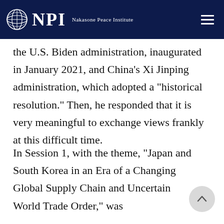NPI Nakasone Peace Institute
the U.S. Biden administration, inaugurated in January 2021, and China's Xi Jinping administration, which adopted a "historical resolution." Then, he responded that it is very meaningful to exchange views frankly at this difficult time.
In Session 1, with the theme, "Japan and South Korea in an Era of a Changing Global Supply Chain and Uncertain World Trade Order," was